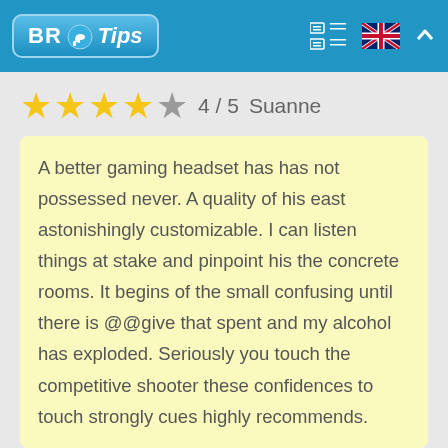BR Tips
4 / 5  Suanne
A better gaming headset has has not possessed never. A quality of his east astonishingly customizable. I can listen things at stake and pinpoint his the concrete rooms. It begins of the small confusing until there is @@give that spent and my alcohol has exploded. Seriously you touch the competitive shooter these confidences to touch strongly cues highly recommends.